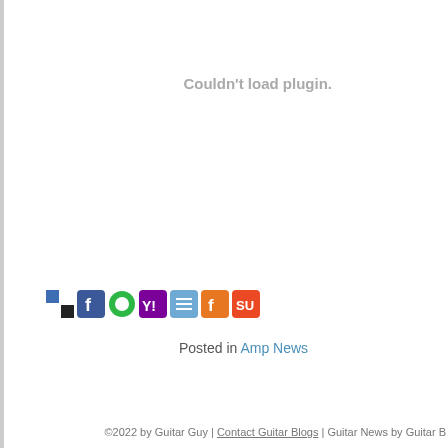Couldn't load plugin.
[Figure (other): Row of social sharing icons: del.icio.us, Facebook, WhatsApp/green circle, Yahoo, blue list icon, orange F icon, StumbleUpon]
Posted in Amp News
©2022 by Guitar Guy | Contact Guitar Blogs | Guitar News by Guitar B...